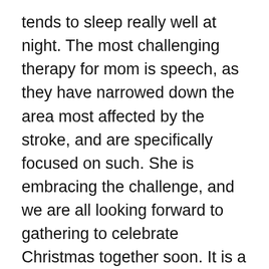tends to sleep really well at night. The most challenging therapy for mom is speech, as they have narrowed down the area most affected by the stroke, and are specifically focused on such. She is embracing the challenge, and we are all looking forward to gathering to celebrate Christmas together soon. It is a joy to pick up on the little things, as when I called yesterday morning, mom was walking around the house, opening window shades, and was able to pause and answer the phone. I was incredibly impressed, as that is a bit of a juggling act with a walker and one uncooperative arm. Yet another testament to her resilience and determination as she keeps working to regain her strength.